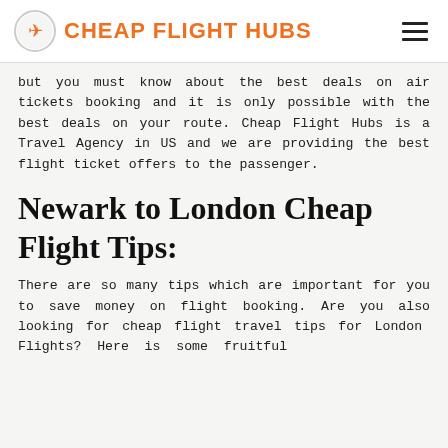CHEAP FLIGHT HUBS
but you must know about the best deals on air tickets booking and it is only possible with the best deals on your route. Cheap Flight Hubs is a Travel Agency in US and we are providing the best flight ticket offers to the passenger.
Newark to London Cheap Flight Tips:
There are so many tips which are important for you to save money on flight booking. Are you also looking for cheap flight travel tips for London Flights? Here is some fruitful